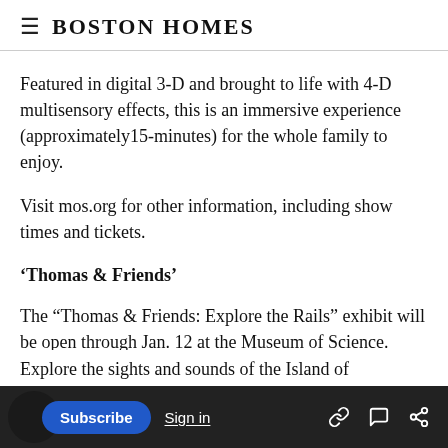Boston Homes
Featured in digital 3-D and brought to life with 4-D multisensory effects, this is an immersive experience (approximately15-minutes) for the whole family to enjoy.
Visit mos.org for other information, including show times and tickets.
‘Thomas & Friends’
The “Thomas & Friends: Explore the Rails” exhibit will be open through Jan. 12 at the Museum of Science.
Explore the sights and sounds of the Island of